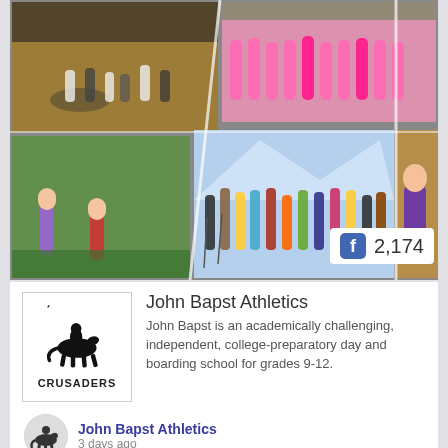[Figure (photo): Collage of sports photos: basketball players on court, team in pink uniforms, soccer/lacrosse players outdoors, ski team group photo, tennis/field hockey player on court]
[Figure (other): Facebook badge showing 2,174 likes]
[Figure (logo): John Bapst Crusaders logo - knight on horseback]
John Bapst Athletics
John Bapst is an academically challenging, independent, college-preparatory day and boarding school for grades 9-12.
[Figure (logo): John Bapst Crusaders small circular avatar logo]
John Bapst Athletics
3 days ago
Just before the 2021-22 school year ended, Mr.